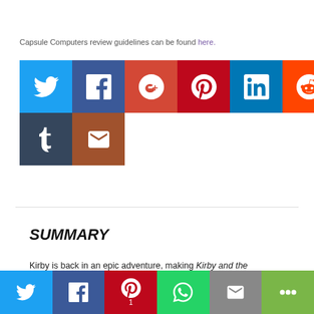Capsule Computers review guidelines can be found here.
[Figure (infographic): Social media sharing buttons: Twitter, Facebook, Google+, Pinterest, LinkedIn, Reddit, Tumblr, Email]
SUMMARY
Kirby is back in an epic adventure, making Kirby and the
[Figure (infographic): Bottom share bar with Twitter, Facebook, Pinterest (1), WhatsApp, Email, and More buttons]